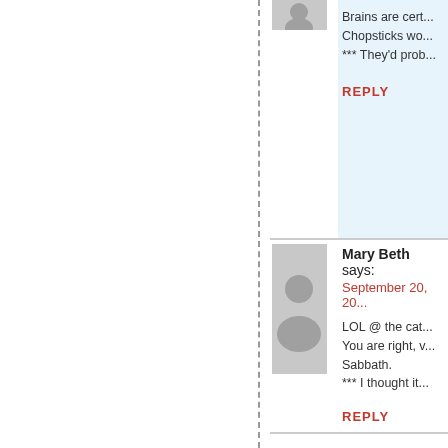Brains are cert... Chopsticks wo... *** They'd prob...
REPLY
Mary Beth says: September 20, 20...
LOL @ the cat... You are right, v... Sabbath. *** I thought it...
REPLY
Tara says: September 20, 20...
I would use a s... *** For mushy-...
REPLY
Joe the Blog S...